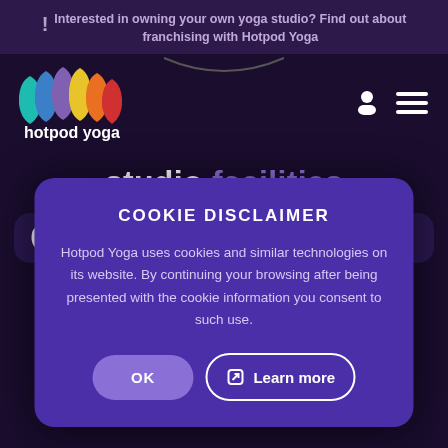! Interested in owning your own yoga studio? Find out about franchising with Hotpod Yoga
[Figure (logo): Hotpod Yoga logo with colorful drop shapes in teal, blue, purple, yellow, orange, red and white text 'hotpod yoga']
studio facilities
COOKIE DISCLAIMER
Hotpod Yoga uses cookies and similar technologies on its website. By continuing your browsing after being presented with the cookie information you consent to such use.
OK  Learn more